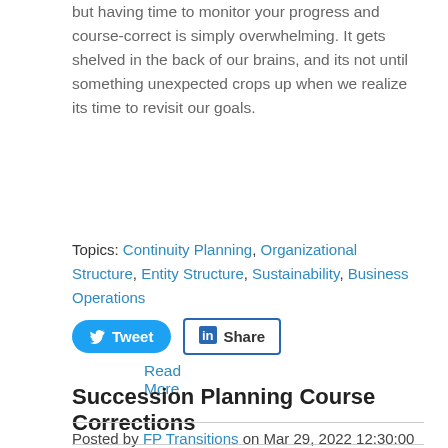but having time to monitor your progress and course-correct is simply overwhelming. It gets shelved in the back of our brains, and its not until something unexpected crops up when we realize its time to revisit our goals.
Read More
Topics: Continuity Planning, Organizational Structure, Entity Structure, Sustainability, Business Operations
[Figure (other): Tweet and LinkedIn Share social media buttons]
Succession Planning Course Corrections
Posted by FP Transitions on Mar 29, 2022 12:30:00 PM
[Figure (photo): Article thumbnail image showing architectural/building elements]